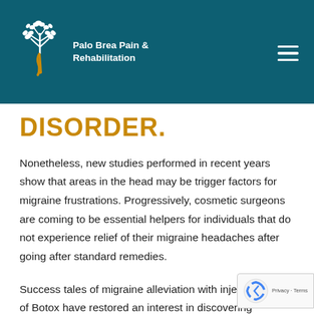Palo Brea Pain & Rehabilitation
DISORDER.
Nonetheless, new studies performed in recent years show that areas in the head may be trigger factors for migraine frustrations. Progressively, cosmetic surgeons are coming to be essential helpers for individuals that do not experience relief of their migraine headaches after going after standard remedies.
Success tales of migraine alleviation with injections of Botox have restored an interest in discovering